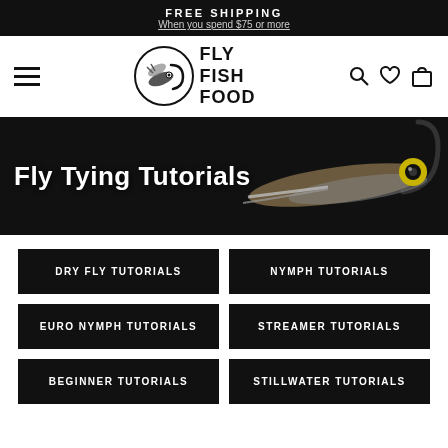FREE SHIPPING
When you spend $75 or more
[Figure (logo): Fly Fish Food logo with fly fishing hook illustration inside a circle, with bold text FLY FISH FOOD]
[Figure (photo): Hero banner showing a fly fishing lure/streamer fly on black background with text 'Fly Tying Tutorials']
DRY FLY TUTORIALS
NYMPH TUTORIALS
EURO NYMPH TUTORIALS
STREAMER TUTORIALS
BEGINNER TUTORIALS
STILLWATER TUTORIALS